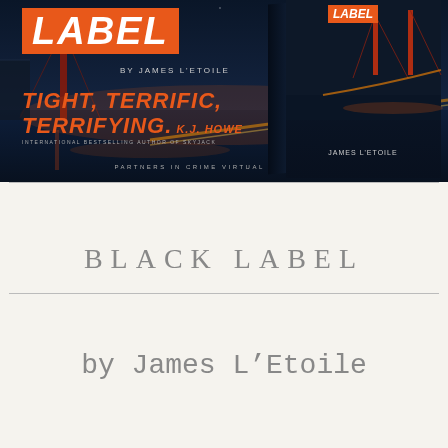[Figure (illustration): Book promotional banner for 'Black Label' by James L'Etoile. Dark blue background with the Golden Gate Bridge at night. Orange rectangle with 'LABEL' in white bold italic text, tagline 'TIGHT, TERRIFIC, TERRIFYING.' in orange, attributed to K.J. Howe, international bestselling author of Skyjack. Partners in Crime Virtual Book Tours text at bottom. 3D book cover on right side.]
BLACK LABEL
by James L'Etoile